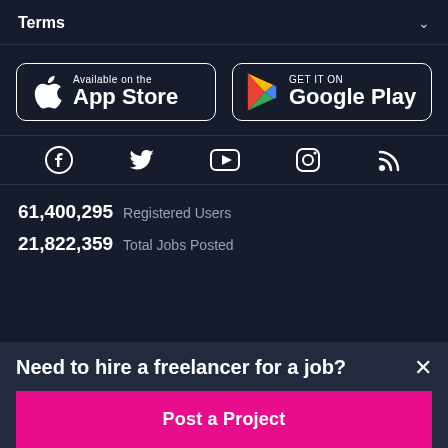Terms
[Figure (other): App Store and Google Play download buttons]
[Figure (other): Social media icons: Facebook, Twitter, YouTube, Instagram, RSS]
61,400,295  Registered Users
21,822,359  Total Jobs Posted
Need to hire a freelancer for a job?
Post a Project